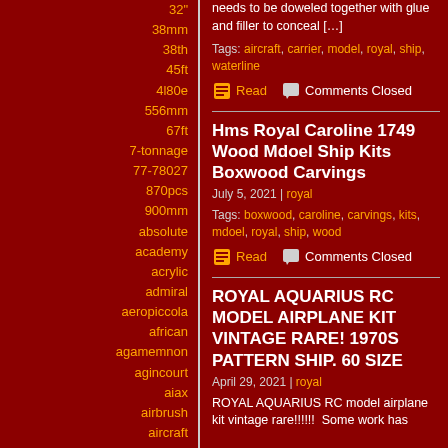32"
38mm
38th
45ft
4l80e
556mm
67ft
7-tonnage
77-78027
870pcs
900mm
absolute
academy
acrylic
admiral
aeropiccola
african
agamemnon
agincourt
aiax
airbrush
aircraft
airfix
alabama
albatros
needs to be doweled together with glue and filler to conceal [...]
Tags: aircraft, carrier, model, royal, ship, waterline
Read  Comments Closed
Hms Royal Caroline 1749 Wood Mdoel Ship Kits Boxwood Carvings
July 5, 2021 | royal
Tags: boxwood, caroline, carvings, kits, mdoel, royal, ship, wood
Read  Comments Closed
ROYAL AQUARIUS RC model airplane kit vintage rare! 1970s pattern ship. 60 size
April 29, 2021 | royal
ROYAL AQUARIUS RC model airplane kit vintage rare!!!!!!  Some work has